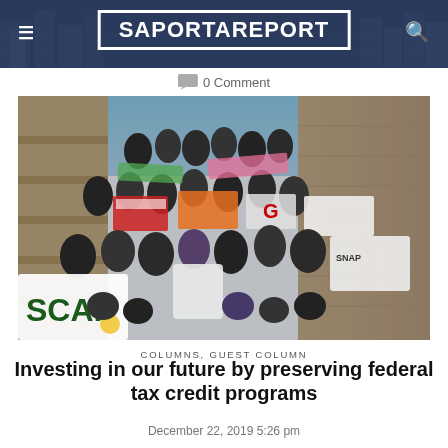SaportaReport
0 Comment
[Figure (photo): Large group photo of students on outdoor steps holding colorful signs and banners. A sign reading 'SCAP' is visible in the foreground. Students are wearing black t-shirts. The background shows a stone wall and sky.]
COLUMNS, GUEST COLUMN
Investing in our future by preserving federal tax credit programs
December 22, 2019 5:26 pm